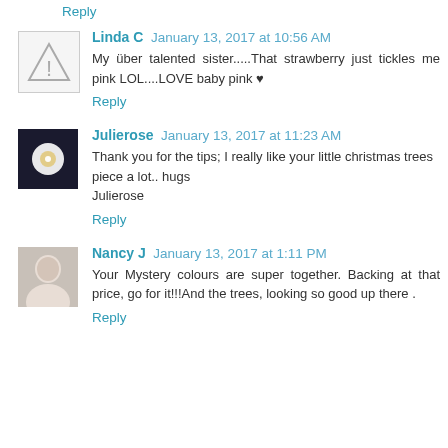Reply
Linda C  January 13, 2017 at 10:56 AM
My über talented sister.....That strawberry just tickles me pink LOL....LOVE baby pink ♥
Reply
Julierose  January 13, 2017 at 11:23 AM
Thank you for the tips; I really like your little christmas trees piece a lot.. hugs
Julierose
Reply
Nancy J  January 13, 2017 at 1:11 PM
Your Mystery colours are super together. Backing at that price, go for it!!!And the trees, looking so good up there .
Reply